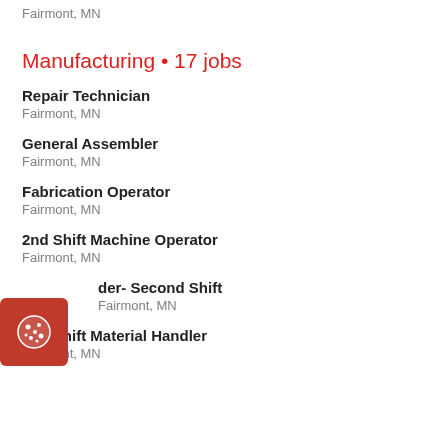Fairmont, MN
Manufacturing • 17 jobs
Repair Technician
Fairmont, MN
General Assembler
Fairmont, MN
Fabrication Operator
Fairmont, MN
2nd Shift Machine Operator
Fairmont, MN
[...] der- Second Shift
Fairmont, MN
2nd Shift Material Handler
Fairmont, MN